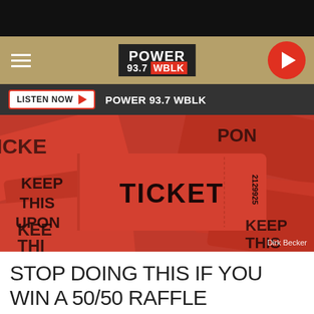[Figure (screenshot): Top black bar and navigation bar with hamburger menu, Power 93.7 WBLK logo in center, and red play button circle on right]
POWER 93.7 WBLK
[Figure (photo): Close-up photo of red raffle tickets with 'TICKET' and 'KEEP THIS COUPON' printed on them, number 2129925 visible. Credit: Dirk Becker]
Dirk Becker
STOP DOING THIS IF YOU WIN A 50/50 RAFFLE